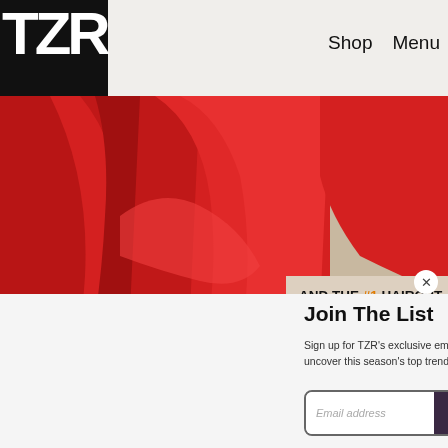TZR | Shop | Menu
[Figure (photo): Hero image of a woman in red draped fabric clothing, with an article card overlay showing 'AND THE #1 HAIRCUT FOR 2022 IS...' and a small thumbnail of a blonde woman. A close X button is visible.]
Join The List
Sign up for TZR's exclusive email list to uncover this season's top trends
Email address  Subscribe